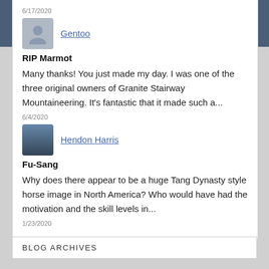6/17/2020
Gentoo
RIP Marmot
Many thanks! You just made my day. I was one of the three original owners of Granite Stairway Mountaineering. It's fantastic that it made such a...
6/4/2020
Hendon Harris
Fu-Sang
Why does there appear to be a huge Tang Dynasty style horse image in North America? Who would have had the motivation and the skill levels in...
1/23/2020
BLOG ARCHIVES